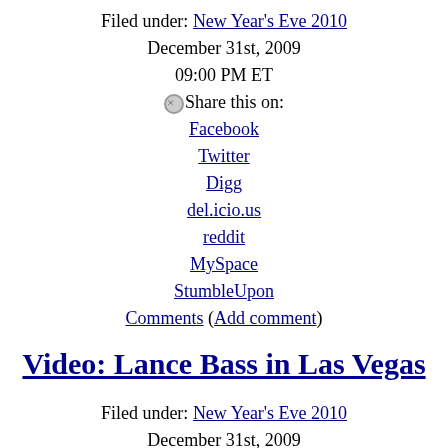Filed under: New Year's Eve 2010
December 31st, 2009
09:00 PM ET
Share this on:
Facebook
Twitter
Digg
del.icio.us
reddit
MySpace
StumbleUpon
Comments (Add comment)
Video: Lance Bass in Las Vegas
Filed under: New Year's Eve 2010
December 31st, 2009
08:58 PM ET
Share this on:
Facebook
Twitter